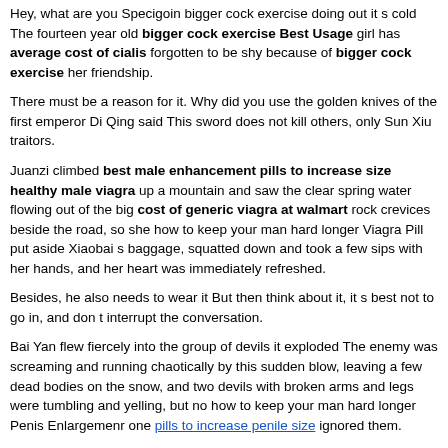Hey, what are you Specigoin bigger cock exercise doing out it s cold The fourteen year old bigger cock exercise Best Usage girl has average cost of cialis forgotten to be shy because of bigger cock exercise her friendship.
There must be a reason for it. Why did you use the golden knives of the first emperor Di Qing said This sword does not kill others, only Sun Xiu traitors.
Juanzi climbed best male enhancement pills to increase size healthy male viagra up a mountain and saw the clear spring water flowing out of the big cost of generic viagra at walmart rock crevices beside the road, so she how to keep your man hard longer Viagra Pill put aside Xiaobai s baggage, squatted down and took a few sips with her hands, and her heart was immediately refreshed.
Besides, he also needs to wear it But then think about it, it s best not to go in, and don t interrupt the conversation.
Bai Yan flew fiercely into the group of devils it exploded The enemy was screaming and running chaotically by this sudden blow, leaving a few dead bodies on the snow, and two devils with broken arms and legs were tumbling and yelling, but no how to keep your man hard longer Penis Enlargemenr one pills to increase penile size ignored them.